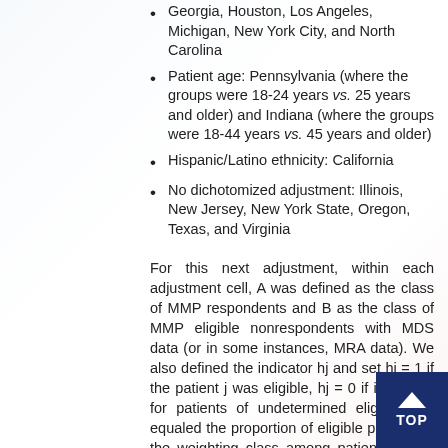Georgia, Houston, Los Angeles, Michigan, New York City, and North Carolina
Patient age: Pennsylvania (where the groups were 18-24 years vs. 25 years and older) and Indiana (where the groups were 18-44 years vs. 45 years and older)
Hispanic/Latino ethnicity: California
No dichotomized adjustment: Illinois, New Jersey, New York State, Oregon, Texas, and Virginia
For this next adjustment, within each adjustment cell, A was defined as the class of MMP respondents and B as the class of MMP eligible nonrespondents with MDS data (or in some instances, MRA data). We also defined the indicator hj and set hj = 1 if the patient j was eligible, hj = 0 if ineligible; for patients of undetermined eligibility, hj equaled the proportion of eligible patients in the weighting class among patients in the weighting class for whom eligibility was